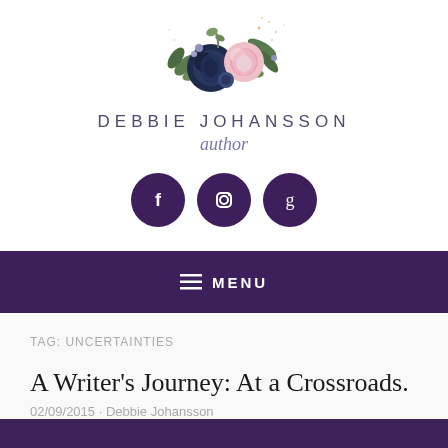[Figure (logo): Floral bouquet logo with dark navy and pink roses with greenery, decorative gold splatter]
DEBBIE JOHANSSON
author
[Figure (infographic): Three dark purple circular social media icons: Facebook (f), Instagram (camera), Goodreads (g)]
≡ MENU
TAG: UNCERTAINTIES
A Writer's Journey: At a Crossroads.
02/09/2015 · Debbie Johansson